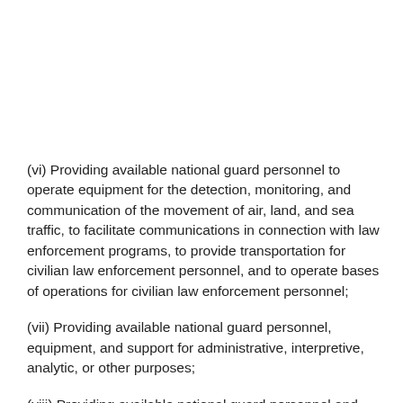(vi) Providing available national guard personnel to operate equipment for the detection, monitoring, and communication of the movement of air, land, and sea traffic, to facilitate communications in connection with law enforcement programs, to provide transportation for civilian law enforcement personnel, and to operate bases of operations for civilian law enforcement personnel;
(vii) Providing available national guard personnel, equipment, and support for administrative, interpretive, analytic, or other purposes;
(viii) Providing available national guard personnel and equipment to aid federal, state, and local officials and agencies otherwise involved in the prosecution or incarceration of individuals processed within the criminal justice system who have been